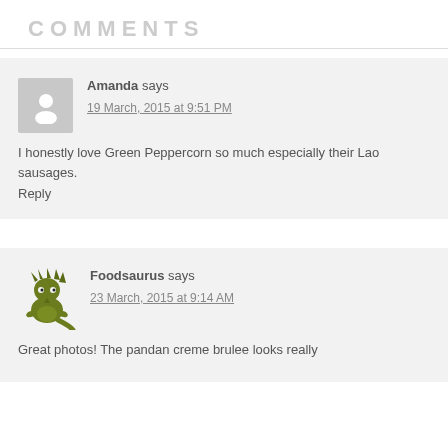COMMENTS
Amanda says
19 March, 2015 at 9:51 PM
I honestly love Green Peppercorn so much especially their Lao sausages.
Reply
Foodsaurus says
23 March, 2015 at 9:14 AM
Great photos! The pandan creme brulee looks really